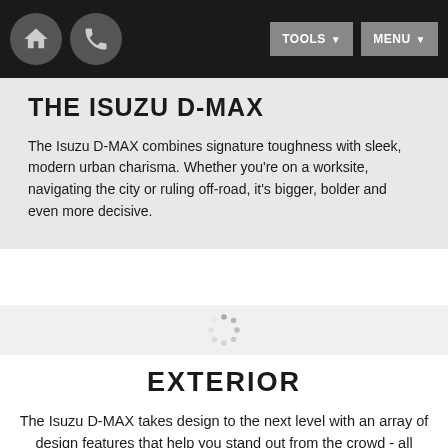THE ISUZU D-MAX | [Navigation bar with home, phone, TOOLS, MENU buttons]
THE ISUZU D-MAX
The Isuzu D-MAX combines signature toughness with sleek, modern urban charisma. Whether you're on a worksite, navigating the city or ruling off-road, it's bigger, bolder and even more decisive.
[Figure (other): Loading spinner / activity indicator dots in circular arrangement]
EXTERIOR
The Isuzu D-MAX takes design to the next level with an array of design features that help you stand out from the crowd - all while offering functional & convenient solutions to help make your life easier.